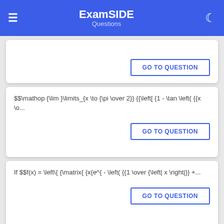ExamSIDE Questions
GO TO QUESTION
$$\mathop {\lim }\limits_{x \to {\pi \over 2}} {{\left[ {1 - \tan \left( {{x \o...
GO TO QUESTION
If $$f(x) = \left\{ {\matrix{ {x{e^{ - \left( {{1 \over {\left| x \right|}} +...
GO TO QUESTION